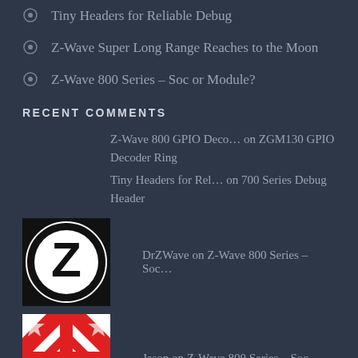Tiny Headers for Reliable Debug
Z-Wave Super Long Range Reaches to the Moon
Z-Wave 800 Series – Soc or Module?
RECENT COMMENTS
Z-Wave 800 GPIO Deco… on ZGM130 GPIO Decoder Ring
Tiny Headers for Rel… on 700 Series Debug Header
DrZWave on Z-Wave 800 Series – Soc…
Jason on Z-Wave 800 Series – Soc…
DrZWave on Zniffer File HowTo
ARCHIVES